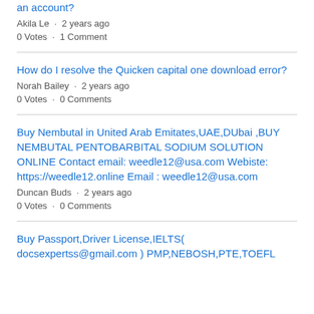an account?
Akila Le · 2 years ago
0 Votes · 1 Comment
How do I resolve the Quicken capital one download error?
Norah Bailey · 2 years ago
0 Votes · 0 Comments
Buy Nembutal in United Arab Emitates,UAE,DUbai ,BUY NEMBUTAL PENTOBARBITAL SODIUM SOLUTION ONLINE Contact email: weedle12@usa.com Webiste: https://weedle12.online Email : weedle12@usa.com
Duncan Buds · 2 years ago
0 Votes · 0 Comments
Buy Passport,Driver License,IELTS( docsexpertss@gmail.com ) PMP,NEBOSH,PTE,TOEFL